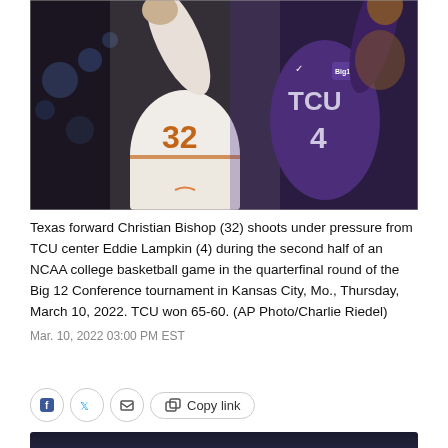[Figure (photo): Basketball action photo showing Texas forward Christian Bishop (#32) in white uniform shooting while TCU center Eddie Lampkin (#4) in purple TCU jersey defends. Dark arena background.]
Texas forward Christian Bishop (32) shoots under pressure from TCU center Eddie Lampkin (4) during the second half of an NCAA college basketball game in the quarterfinal round of the Big 12 Conference tournament in Kansas City, Mo., Thursday, March 10, 2022. TCU won 65-60. (AP Photo/Charlie Riedel)
Mar. 10, 2022 03:00 PM EST
[Figure (photo): Partial second basketball photo visible at bottom of page, dark arena background]